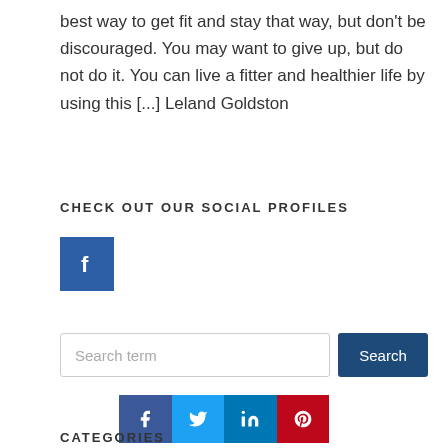best way to get fit and stay that way, but don't be discouraged. You may want to give up, but do not do it. You can live a fitter and healthier life by using this [...] Leland Goldston
CHECK OUT OUR SOCIAL PROFILES
[Figure (logo): Facebook icon button — blue square with white 'f' logo]
[Figure (infographic): Search bar with text field labeled 'Search term' and blue 'Search' button]
[Figure (infographic): Social share buttons row: Facebook (dark blue), Twitter (light blue), LinkedIn (blue), Pinterest (red) with respective icons]
CATEGORIES